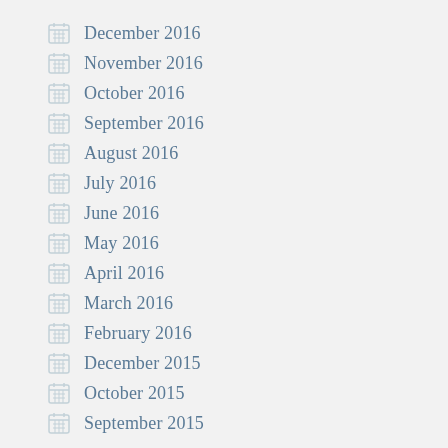December 2016
November 2016
October 2016
September 2016
August 2016
July 2016
June 2016
May 2016
April 2016
March 2016
February 2016
December 2015
October 2015
September 2015